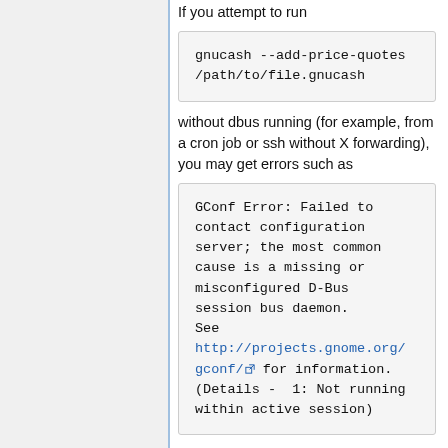If you attempt to run
gnucash --add-price-quotes /path/to/file.gnucash
without dbus running (for example, from a cron job or ssh without X forwarding), you may get errors such as
GConf Error: Failed to contact configuration server; the most common cause is a missing or misconfigured D-Bus session bus daemon. See http://projects.gnome.org/gconf/ for information. (Details -  1: Not running within active session)
One resolution for this, courtesy of